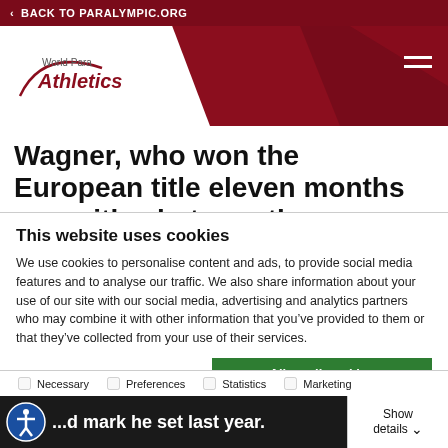< BACK TO PARALYMPIC.ORG
[Figure (logo): World Para Athletics logo with red swoosh on white background, set against dark red header band]
Wagner, who won the European title eleven months ago with what was then
This website uses cookies
We use cookies to personalise content and ads, to provide social media features and to analyse our traffic. We also share information about your use of our site with our social media, advertising and analytics partners who may combine it with other information that you've provided to them or that they've collected from your use of their services.
Allow all cookies
Allow selection
Use necessary cookies only
...d mark he set last year.
Show details